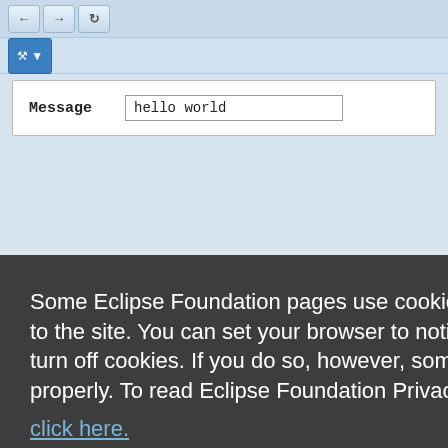[Figure (screenshot): Browser UI chrome with navigation buttons (back, forward, refresh) and a blue tool/settings button]
Message    hello world
Some Eclipse Foundation pages use cookies to better serve you when you return to the site. You can set your browser to notify you before you receive a cookie or turn off cookies. If you do so, however, some areas of some sites may not function properly. To read Eclipse Foundation Privacy Policy
click here.
Decline
Allow cookies